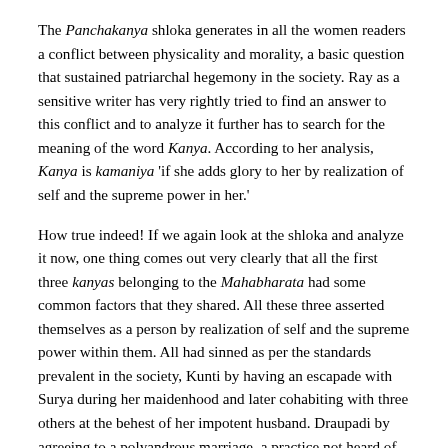The Panchakanya shloka generates in all the women readers a conflict between physicality and morality, a basic question that sustained patriarchal hegemony in the society. Ray as a sensitive writer has very rightly tried to find an answer to this conflict and to analyze it further has to search for the meaning of the word Kanya. According to her analysis, Kanya is kamaniya 'if she adds glory to her by realization of self and the supreme power in her.'
How true indeed! If we again look at the shloka and analyze it now, one thing comes out very clearly that all the first three kanyas belonging to the Mahabharata had some common factors that they shared. All these three asserted themselves as a person by realization of self and the supreme power within them. All had sinned as per the standards prevalent in the society, Kunti by having an escapade with Surya during her maidenhood and later cohabiting with three others at the behest of her impotent husband. Draupadi by agreeing to a polyandrous marriage, a practice not heard of during the epic period. Knowing her temperament, that she revealed during her svayamvara where she stops Karna from aiming at the target, we at least know one thing for certain that had she not so desired, no one could have forced to this marriage.
Ahalya by wilfully entering into a short but beautiful relationship with Indra, to fulfil herself as a woman, depicts